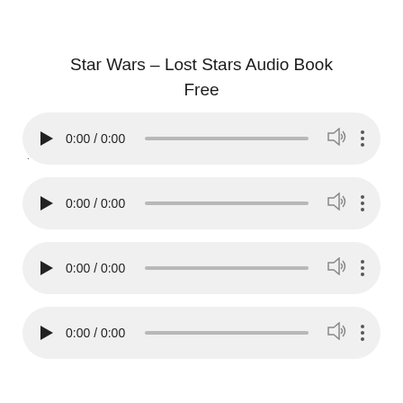Star Wars – Lost Stars Audio Book
Free
.
[Figure (screenshot): Audio player control 1: play button, 0:00 / 0:00 time display, progress bar, volume icon, more options icon]
[Figure (screenshot): Audio player control 2: play button, 0:00 / 0:00 time display, progress bar, volume icon, more options icon]
[Figure (screenshot): Audio player control 3: play button, 0:00 / 0:00 time display, progress bar, volume icon, more options icon]
[Figure (screenshot): Audio player control 4 (partially visible): play button, 0:00 / 0:00 time display, progress bar, volume icon, more options icon]